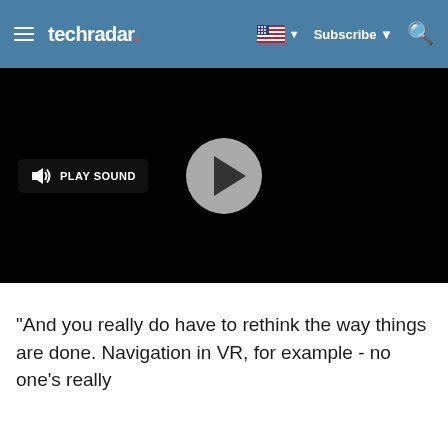techradar
[Figure (screenshot): Video player with black background, a circular grey play button in the center, and a 'PLAY SOUND' button with speaker icon on the left side.]
"And you really do have to rethink the way things are done. Navigation in VR, for example - no one's really